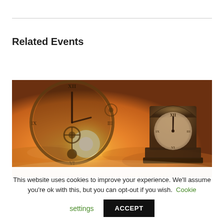Related Events
[Figure (illustration): Fantasy illustration of two clocks — a large ornate clock face silhouetted against a glowing golden sunset sky with clouds, and a smaller antique mantel clock on the right side, both set against a dramatic amber and orange cloudy background.]
This website uses cookies to improve your experience. We'll assume you're ok with this, but you can opt-out if you wish. Cookie settings ACCEPT